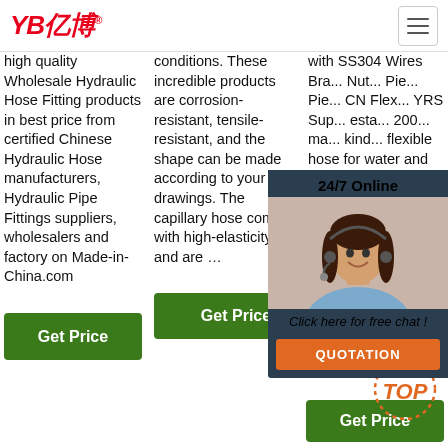YB亿博® [logo] [menu button]
high quality Wholesale Hydraulic Hose Fitting products in best price from certified Chinese Hydraulic Hose manufacturers, Hydraulic Pipe Fittings suppliers, wholesalers and factory on Made-in-China.com
conditions. These incredible products are corrosion-resistant, tensile-resistant, and the shape can be made according to your drawings. The capillary hose come with high-elasticity and are …
with SS304 Wires Bra... Nut... Pie... Pie... CN Flex... YRS Sup... esta... 200... ma... kind... flexible hose for water and gas applications to satisfy our...
[Figure (photo): 24/7 Online chat popup with female customer service agent wearing headset, with 'Click here for free chat!' text and QUOTATION button]
[Figure (infographic): TOP scroll-to-top button with dotted circle and orange italic text]
Get Price
Get Price
Get Price